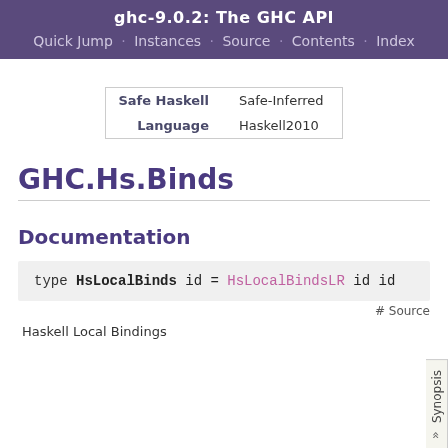ghc-9.0.2: The GHC API
Quick Jump · Instances · Source · Contents · Index
| Label | Value |
| --- | --- |
| Safe Haskell | Safe-Inferred |
| Language | Haskell2010 |
GHC.Hs.Binds
Documentation
type HsLocalBinds id = HsLocalBindsLR id id
# Source
Haskell Local Bindings